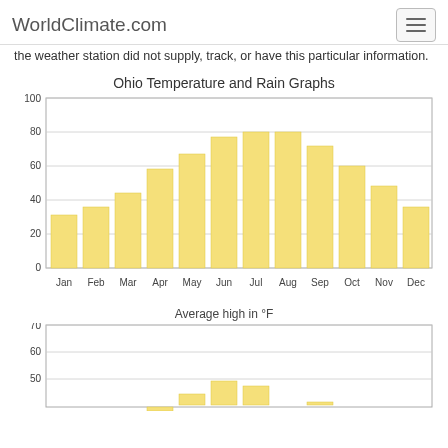WorldClimate.com
the weather station did not supply, track, or have this particular information.
Ohio Temperature and Rain Graphs
[Figure (bar-chart): Average high in °F]
Average high in °F
[Figure (bar-chart): Second chart (partial)]